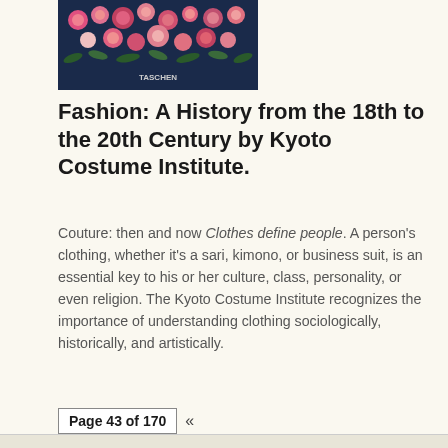[Figure (photo): Book cover image of 'Fashion: A History from the 18th to the 20th Century by Kyoto Costume Institute' showing colorful floral decorations on dark background with TASCHEN publisher logo]
Fashion: A History from the 18th to the 20th Century by Kyoto Costume Institute.
Couture: then and now Clothes define people. A person's clothing, whether it's a sari, kimono, or business suit, is an essential key to his or her culture, class, personality, or even religion. The Kyoto Costume Institute recognizes the importance of understanding clothing sociologically, historically, and artistically.
Page 43 of 170  «